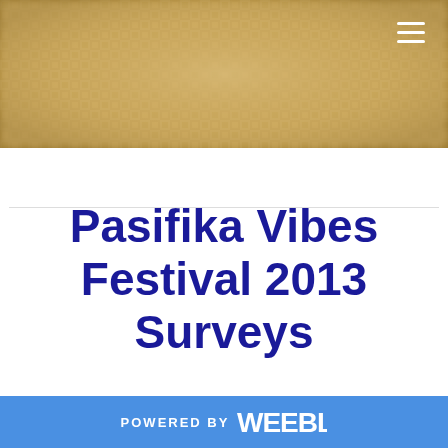[Figure (photo): A blurred woven textile or basket-weave pattern in warm golden/tan tones serving as a decorative header banner. A hamburger menu icon (three white horizontal lines) appears in the top-right corner.]
Pasifika Vibes Festival 2013 Surveys
POWERED BY weebly